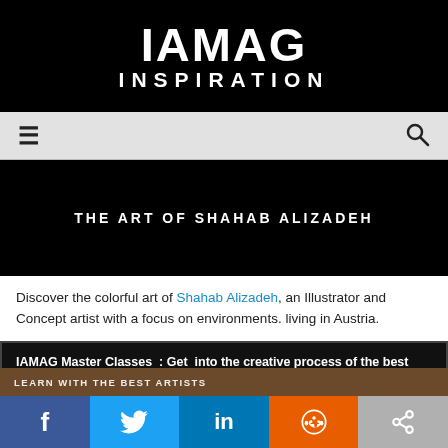IAMAG INSPIRATION
[Figure (screenshot): Navigation bar with hamburger menu icon on left and search icon on right, light grey background]
THE ART OF SHAHAB ALIZADEH
Discover the colorful art of Shahab Alizadeh, an Illustrator and Concept artist with a focus on environments. living in Austria.
IAMAG Master Classes  : Get  into the creative process of the best artists , Free Trial
[Figure (screenshot): Bottom strip showing learn with the best artists text over a dark image, and social share buttons: Facebook, Twitter, LinkedIn, Reddit, Share]